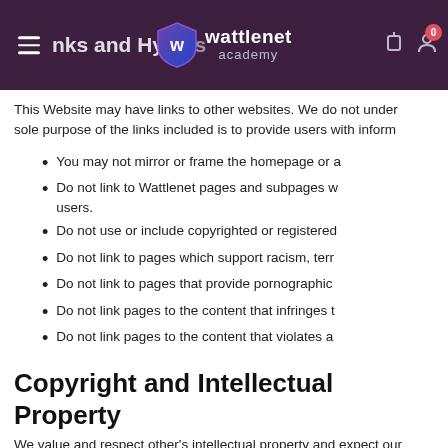wattlenet academy
This Website may have links to other websites. We do not under sole purpose of the links included is to provide users with inform
You may not mirror or frame the homepage or a
Do not link to Wattlenet pages and subpages w users.
Do not use or include copyrighted or registered
Do not link to pages which support racism, terr
Do not link to pages that provide pornographic
Do not link pages to the content that infringes t
Do not link pages to the content that violates a
Copyright and Intellectual Property
We value and respect other's intellectual property and expect our